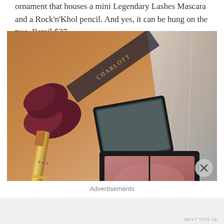ornament that houses a mini Legendary Lashes Mascara and a Rock'n'Khol pencil. And yes, it can be hung on the tree. Retail $27.
[Figure (photo): Close-up photo of Charlotte Tilbury cosmetics including a makeup compact with mirror open showing blush product, a lipstick with gold casing and dark burgundy ribbon bow, and metallic/cellophane packaging in the background with rose gold tones.]
Advertisements
NEXT THIS AD